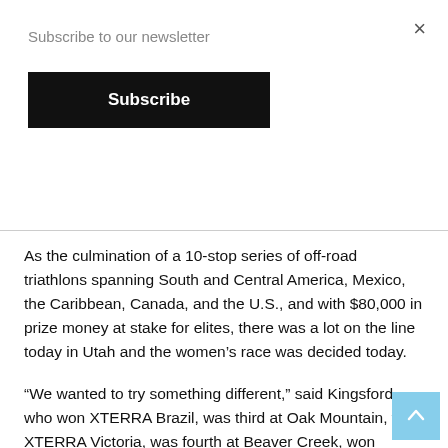Subscribe to our newsletter
Subscribe
As the culmination of a 10-stop series of off-road triathlons spanning South and Central America, Mexico, the Caribbean, Canada, and the U.S., and with $80,000 in prize money at stake for elites, there was a lot on the line today in Utah and the women's race was decided today.
“We wanted to try something different,” said Kingsford, who won XTERRA Brazil, was third at Oak Mountain, won XTERRA Victoria, was fourth at Beaver Creek, won XTERRA Mexico, and was second here today. “My goal was to get top two on the Tour, so to win it is absolutely amazing.”